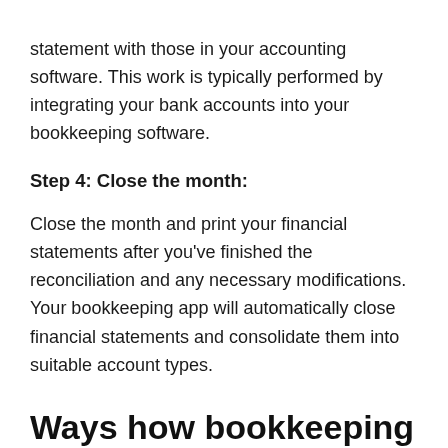statement with those in your accounting software. This work is typically performed by integrating your bank accounts into your bookkeeping software.
Step 4: Close the month:
Close the month and print your financial statements after you've finished the reconciliation and any necessary modifications. Your bookkeeping app will automatically close financial statements and consolidate them into suitable account types.
Ways how bookkeeping software helps simplify Bookkeeping